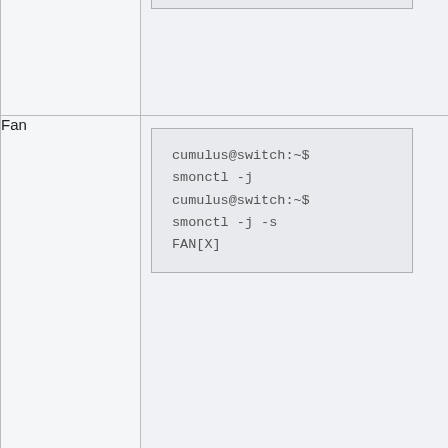|  |  |
| --- | --- |
|  | smonctl -j
cumulus@switch:~$
smonctl -j -s
TEMP[X] |
| Fan | cumulus@switch:~$
smonctl -j
cumulus@switch:~$
smonctl -j -s
FAN[X] |
| PSU | cumulus@switch:~$ |